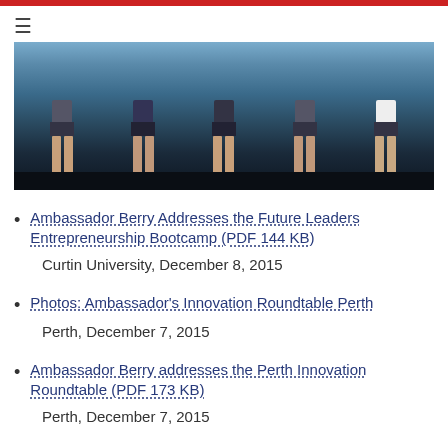[Figure (photo): Group of young people standing together, visible from waist down, wearing shorts, in an indoor setting]
Ambassador Berry Addresses the Future Leaders Entrepreneurship Bootcamp (PDF 144 KB)
Curtin University, December 8, 2015
Photos: Ambassador's Innovation Roundtable Perth
Perth, December 7, 2015
Ambassador Berry addresses the Perth Innovation Roundtable (PDF 173 KB)
Perth, December 7, 2015